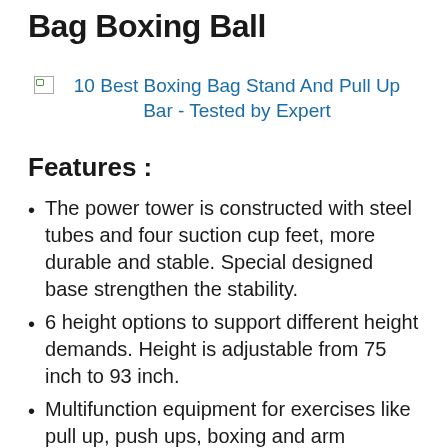Bag Boxing Ball
[Figure (photo): Broken image placeholder linking to '10 Best Boxing Bag Stand And Pull Up Bar - Tested by Expert']
Features :
The power tower is constructed with steel tubes and four suction cup feet, more durable and stable. Special designed base strengthen the stability.
6 height options to support different height demands. Height is adjustable from 75 inch to 93 inch.
Multifunction equipment for exercises like pull up, push ups, boxing and arm